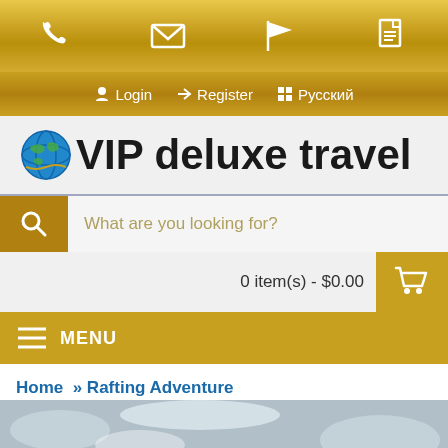[Figure (screenshot): Website header with phone, email, flag, and document icons on gold gradient background]
Login → Register ⊞ Русский
[Figure (logo): VIP deluxe travel logo with globe icon]
What are you looking for?
0 item(s) - $0.00
MENU
Home » Rafting Adventure
[Figure (photo): Person rafting in white water rapids]